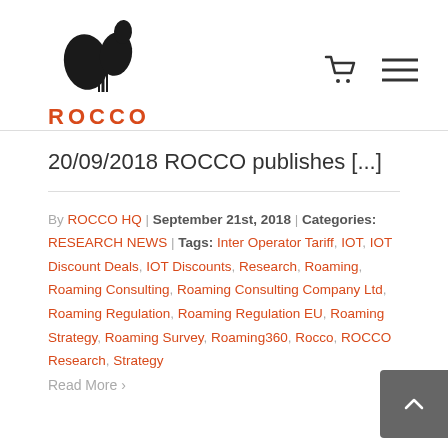[Figure (logo): ROCCO company logo with abstract black leaf/drop shapes and orange ROCCO text]
20/09/2018 ROCCO publishes [...]
By ROCCO HQ | September 21st, 2018 | Categories: RESEARCH NEWS | Tags: Inter Operator Tariff, IOT, IOT Discount Deals, IOT Discounts, Research, Roaming, Roaming Consulting, Roaming Consulting Company Ltd, Roaming Regulation, Roaming Regulation EU, Roaming Strategy, Roaming Survey, Roaming360, Rocco, ROCCO Research, Strategy
Read More >